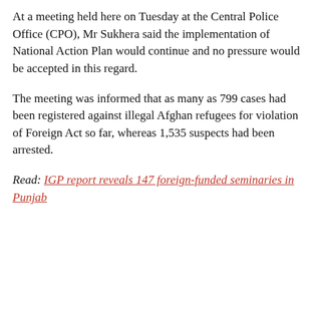At a meeting held here on Tuesday at the Central Police Office (CPO), Mr Sukhera said the implementation of National Action Plan would continue and no pressure would be accepted in this regard.
The meeting was informed that as many as 799 cases had been registered against illegal Afghan refugees for violation of Foreign Act so far, whereas 1,535 suspects had been arrested.
Read: IGP report reveals 147 foreign-funded seminaries in Punjab